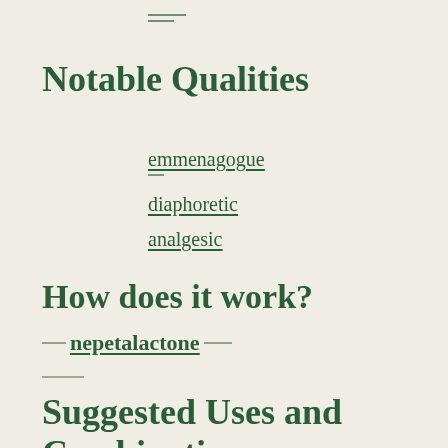Notable Qualities
emmenagogue
diaphoretic
analgesic
How does it work?
nepetalactone
Suggested Uses and Combinations